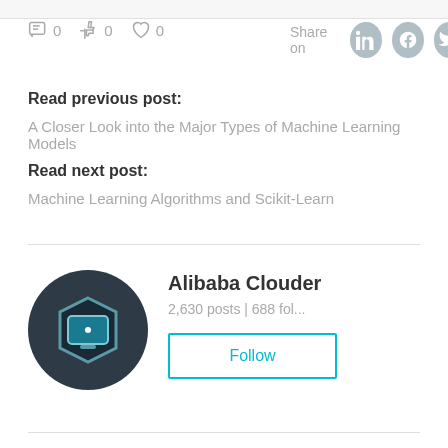0  0  0  Share on
Read previous post:
A Closer Look into the Major Types of Machine Learning Models
Read next post:
Machine Learning Algorithms and Scikit-Learn
[Figure (photo): Alibaba Clouder avatar: dark circular icon with a shield/computer screen graphic in teal on dark background]
Alibaba Clouder
2,630 posts | 688 fol...
Follow